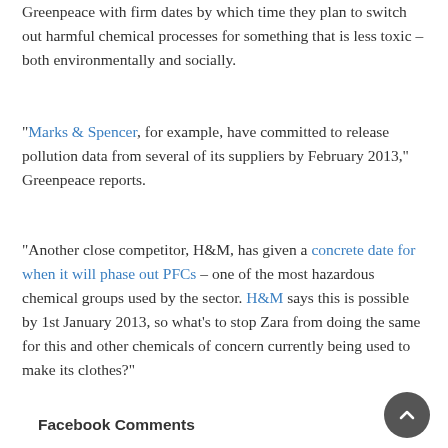Greenpeace with firm dates by which time they plan to switch out harmful chemical processes for something that is less toxic – both environmentally and socially.
"Marks & Spencer, for example, have committed to release pollution data from several of its suppliers by February 2013," Greenpeace reports.
"Another close competitor, H&M, has given a concrete date for when it will phase out PFCs – one of the most hazardous chemical groups used by the sector. H&M says this is possible by 1st January 2013, so what's to stop Zara from doing the same for this and other chemicals of concern currently being used to make its clothes?"
Facebook Comments